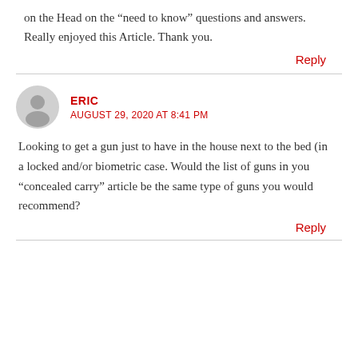on the Head on the “need to know” questions and answers. Really enjoyed this Article. Thank you.
Reply
ERIC
AUGUST 29, 2020 AT 8:41 PM
Looking to get a gun just to have in the house next to the bed (in a locked and/or biometric case. Would the list of guns in you “concealed carry” article be the same type of guns you would recommend?
Reply